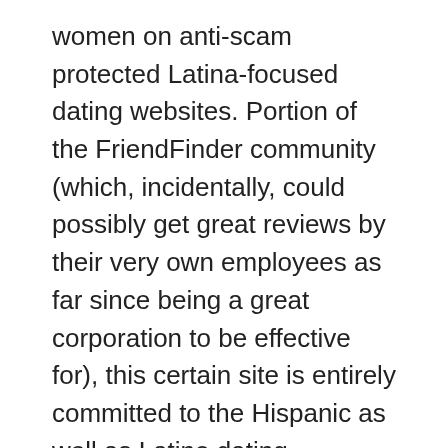women on anti-scam protected Latina-focused dating websites. Portion of the FriendFinder community (which, incidentally, could possibly get great reviews by their very own employees as far since being a great corporation to be effective for), this certain site is entirely committed to the Hispanic as well as Latino dating community.
Typically the particular way people satisfy, begin relationships and the courtroom will be changing. Of program, merely as with virtually all typically the sites on the certain FriendFinder network, you may possibly have the particular approach to a totally free